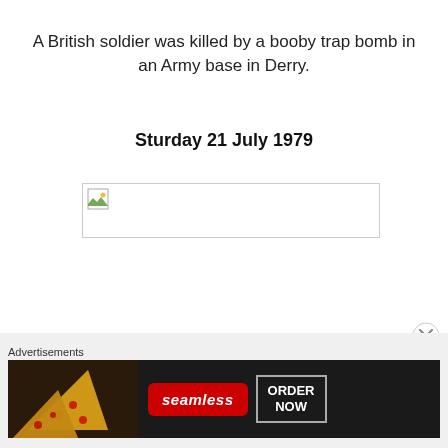A British soldier was killed by a booby trap bomb in an Army base in Derry.
Sturday 21 July 1979
[Figure (other): Broken image placeholder — a missing/failed image load indicator showing a small image icon with a white background and light grey border.]
[Figure (other): Seamless food delivery advertisement banner showing pizza slices on a dark background with Seamless logo in red and 'ORDER NOW' button.]
Advertisements